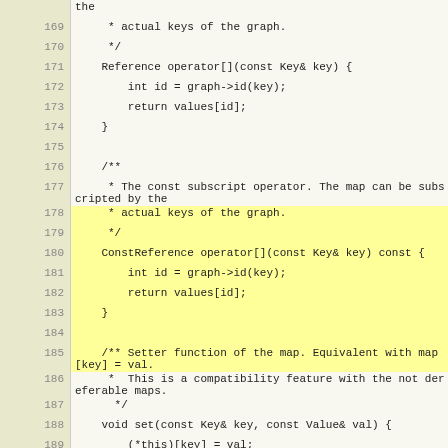Source code listing lines 169-192 showing C++ graph map operator[] and set() implementations
[Figure (screenshot): C++ source code editor view showing lines 169-192 with line numbers on left and code on right. Lines 178-184 are highlighted in yellow. Code includes operator[]() const and non-const implementations and a set() method for a graph-based map.]